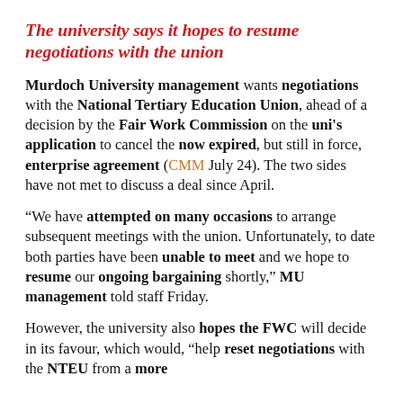The university says it hopes to resume negotiations with the union
Murdoch University management wants negotiations with the National Tertiary Education Union, ahead of a decision by the Fair Work Commission on the uni's application to cancel the now expired, but still in force, enterprise agreement (CMM July 24). The two sides have not met to discuss a deal since April.
“We have attempted on many occasions to arrange subsequent meetings with the union. Unfortunately, to date both parties have been unable to meet and we hope to resume our ongoing bargaining shortly,” MU management told staff Friday.
However, the university also hopes the FWC will decide in its favour, which would, “help reset negotiations with the NTEU from a more